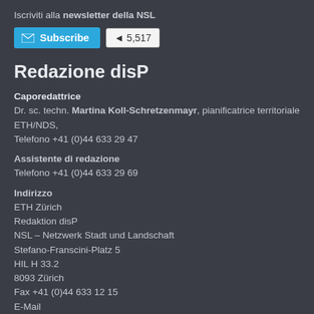Iscriviti alla newsletter della NSL
[Figure (screenshot): Blue Subscribe button with envelope icon and a count badge showing 5,517]
Redazione disP
Caporedattrice
Dr. sc. techn. Martina Koll-Schretzenmayr, pianificatrice territoriale ETH/NDS, Telefono +41 (0)44 633 29 47
Assistente di redazione
Telefono +41 (0)44 633 29 69
Indirizzo
ETH Zürich
Redaktion disP
NSL – Netzwerk Stadt und Landschaft
Stefano-Franscini-Platz 5
HIL H 33.2
8093 Zürich
Fax +41 (0)44 633 12 15
E-Mail
Archivio NSL (gta)
Archivio storico e di ricerca per l'architettura